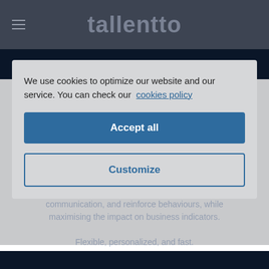tallentto
We use cookies to optimize our website and our service. You can check our cookies policy
Accept all
Customize
The digital learning and reinforcing revolution for businesses. The digital platform analyses learning, improves communication, and reinforce behaviours, while maximising the impact on business indicators. Flexible, personalized, and fast.